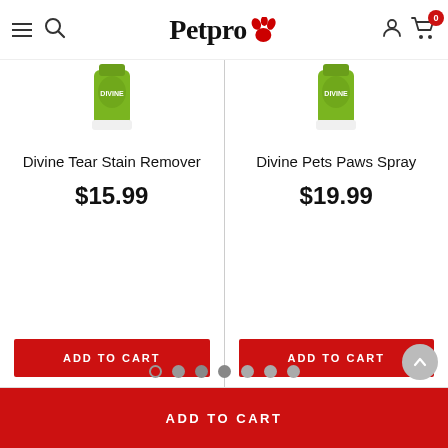Petpro - navigation header with hamburger menu, search, logo, account and cart icons
[Figure (photo): Green bottle product image - Divine Tear Stain Remover (partially visible, cropped at top)]
Divine Tear Stain Remover
$15.99
ADD TO CART
[Figure (photo): Green bottle product image - Divine Pets Paws Spray (partially visible, cropped at top)]
Divine Pets Paws Spray
$19.99
ADD TO CART
ADD TO CART